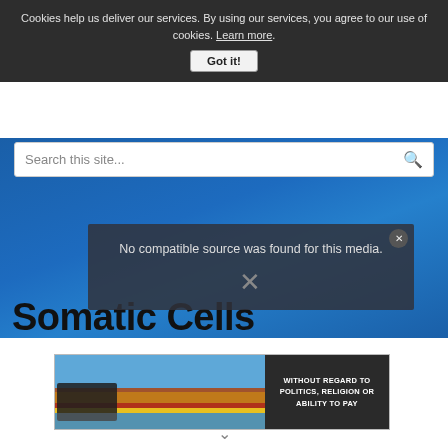Cookies help us deliver our services. By using our services, you agree to our use of cookies. Learn more.
Got it!
Search this site...
[Figure (screenshot): Blue hero background image of an aircraft scene]
[Figure (screenshot): Video player overlay with message: No compatible source was found for this media. With a close button (x) and dismiss X below.]
Somatic Cells
[Figure (photo): Advertisement banner showing cargo airplane being loaded with packages and text WITHOUT REGARD TO POLITICS, RELIGION OR ABILITY TO PAY]
v